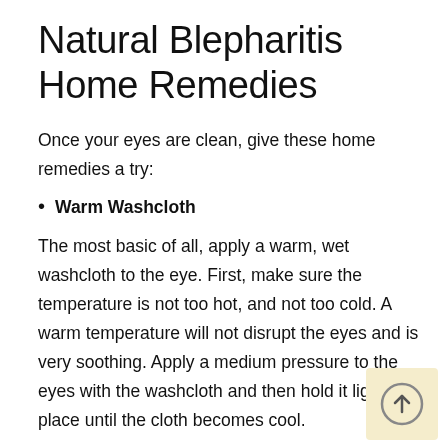Natural Blepharitis Home Remedies
Once your eyes are clean, give these home remedies a try:
Warm Washcloth
The most basic of all, apply a warm, wet washcloth to the eye. First, make sure the temperature is not too hot, and not too cold. A warm temperature will not disrupt the eyes and is very soothing. Apply a medium pressure to the eyes with the washcloth and then hold it lightly in place until the cloth becomes cool.
Repeat this process and then it is a long way for cold...